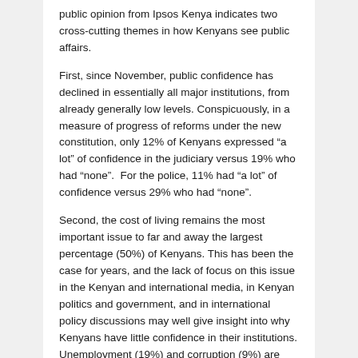public opinion from Ipsos Kenya indicates two cross-cutting themes in how Kenyans see public affairs.
First, since November, public confidence has declined in essentially all major institutions, from already generally low levels. Conspicuously, in a measure of progress of reforms under the new constitution, only 12% of Kenyans expressed “a lot” of confidence in the judiciary versus 19% who had “none”.  For the police, 11% had “a lot” of confidence versus 29% who had “none”.
Second, the cost of living remains the most important issue to far and away the largest percentage (50%) of Kenyans. This has been the case for years, and the lack of focus on this issue in the Kenyan and international media, in Kenyan politics and government, and in international policy discussions may well give insight into why Kenyans have little confidence in their institutions. Unemployment (19%) and corruption (9%) are second and third in the “most important issue” question.
See the Ipsos Kenya summary statement and the entire